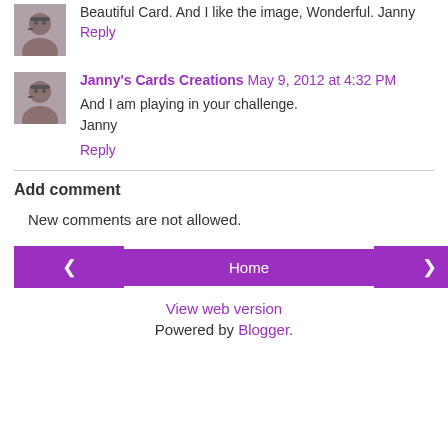Beautiful Card. And I like the image, Wonderful. Janny
Reply
Janny's Cards Creations May 9, 2012 at 4:32 PM
And I am playing in your challenge.
Janny
Reply
Add comment
New comments are not allowed.
Home
View web version
Powered by Blogger.